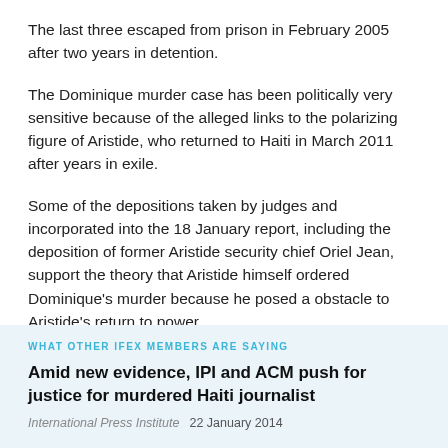The last three escaped from prison in February 2005 after two years in detention.
The Dominique murder case has been politically very sensitive because of the alleged links to the polarizing figure of Aristide, who returned to Haiti in March 2011 after years in exile.
Some of the depositions taken by judges and incorporated into the 18 January report, including the deposition of former Aristide security chief Oriel Jean, support the theory that Aristide himself ordered Dominique's murder because he posed a obstacle to Aristide's return to power.
WHAT OTHER IFEX MEMBERS ARE SAYING
Amid new evidence, IPI and ACM push for justice for murdered Haiti journalist
International Press Institute   22 January 2014